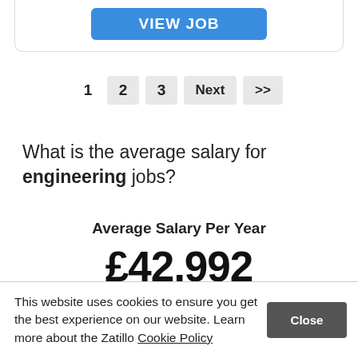[Figure (other): VIEW JOB button at the top of the page inside a card]
1  2  3  Next  >>
What is the average salary for engineering jobs?
Average Salary Per Year
£42,992
This website uses cookies to ensure you get the best experience on our website. Learn more about the Zatillo Cookie Policy